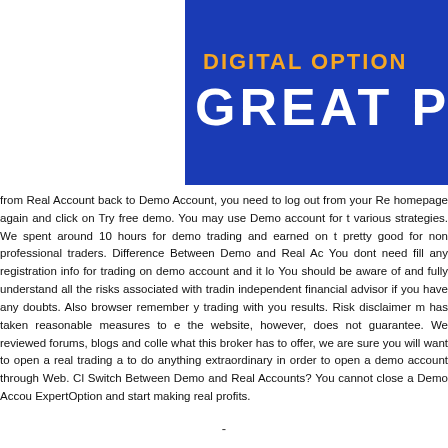[Figure (other): Blue banner with orange text 'DIGITAL OPTION' and large white text 'GREAT PRO']
from Real Account back to Demo Account, you need to log out from your Re homepage again and click on Try free demo. You may use Demo account for t various strategies. We spent around 10 hours for demo trading and earned on t pretty good for non professional traders. Difference Between Demo and Real Ac You dont need fill any registration info for trading on demo account and it lo You should be aware of and fully understand all the risks associated with tradin independent financial advisor if you have any doubts. Also browser remember trading with you results. Risk disclaimer m has taken reasonable measures to e the website, however, does not guarantee. We reviewed forums, blogs and colle what this broker has to offer, we are sure you will want to open a real trading a to do anything extraordinary in order to open a demo account through Web. Cl Switch Between Demo and Real Accounts? You cannot close a Demo Accou ExpertOption and start making real profits.
-